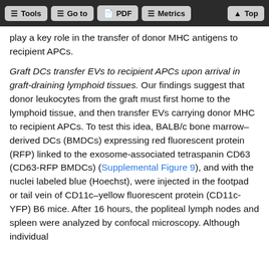Tools | Go to | PDF | Metrics | Top
play a key role in the transfer of donor MHC antigens to recipient APCs.
Graft DCs transfer EVs to recipient APCs upon arrival in graft-draining lymphoid tissues. Our findings suggest that donor leukocytes from the graft must first home to the lymphoid tissue, and then transfer EVs carrying donor MHC to recipient APCs. To test this idea, BALB/c bone marrow–derived DCs (BMDCs) expressing red fluorescent protein (RFP) linked to the exosome-associated tetraspanin CD63 (CD63-RFP BMDCs) (Supplemental Figure 9), and with the nuclei labeled blue (Hoechst), were injected in the footpad or tail vein of CD11c–yellow fluorescent protein (CD11c-YFP) B6 mice. After 16 hours, the popliteal lymph nodes and spleen were analyzed by confocal microscopy. Although individual